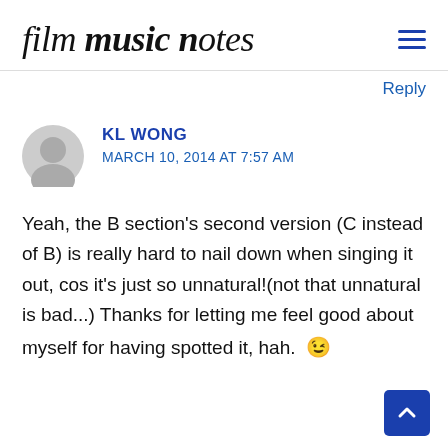film music notes
Reply
KL WONG
MARCH 10, 2014 AT 7:57 AM
Yeah, the B section's second version (C instead of B) is really hard to nail down when singing it out, cos it's just so unnatural!(not that unnatural is bad...) Thanks for letting me feel good about myself for having spotted it, hah. 😉